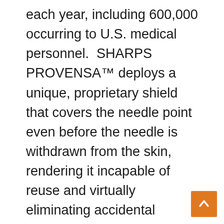each year, including 600,000 occurring to U.S. medical personnel.  SHARPS PROVENSA™ deploys a unique, proprietary shield that covers the needle point even before the needle is withdrawn from the skin, rendering it incapable of reuse and virtually eliminating accidental needlestick injuries.
More than 20 viruses can be spread by contaminated needles, including Hepatitis and HIV. In fact, according to the WHO, 37.6% of Hepatitis B, 39% of Hepatitis C and 4.4% of HIV/AIDS cases in healthcare workers worldwide are due to infectious needlestick injuries. A study cited by the WHO of 20 countries found that